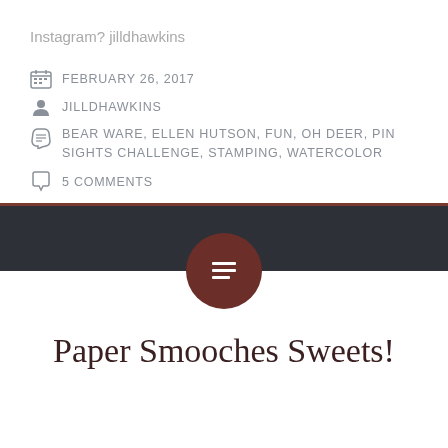Instagram? jilldhawkins
FEBRUARY 26, 2017
JILLDHAWKINS
BEAR WARE, ELLEN HUTSON, FUN, OH DEER, PIN SIGHTS CHALLENGE, STAMPING, WATERCOLOR
5 COMMENTS
[Figure (other): Dark navigation band with brown accent stripe and circular menu button icon in dark red/brown]
Paper Smooches Sweets!